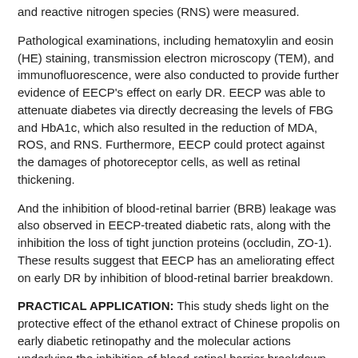and reactive nitrogen species (RNS) were measured.
Pathological examinations, including hematoxylin and eosin (HE) staining, transmission electron microscopy (TEM), and immunofluorescence, were also conducted to provide further evidence of EECP's effect on early DR. EECP was able to attenuate diabetes via directly decreasing the levels of FBG and HbA1c, which also resulted in the reduction of MDA, ROS, and RNS. Furthermore, EECP could protect against the damages of photoreceptor cells, as well as retinal thickening.
And the inhibition of blood-retinal barrier (BRB) leakage was also observed in EECP-treated diabetic rats, along with the inhibition the loss of tight junction proteins (occludin, ZO-1). These results suggest that EECP has an ameliorating effect on early DR by inhibition of blood-retinal barrier breakdown.
PRACTICAL APPLICATION: This study sheds light on the protective effect of the ethanol extract of Chinese propolis on early diabetic retinopathy and the molecular actions underlying the inhibition of blood-retinal barrier breakdown.